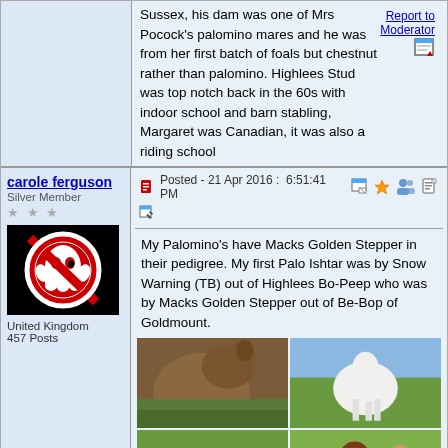Sussex, his dam was one of Mrs Pocock's palomino mares and he was from her first batch of foals but chestnut rather than palomino. Highlees Stud was top notch back in the 60s with indoor school and barn stabling, Margaret was Canadian, it was also a riding school
Report to Moderator
carole ferguson
Silver Member
★★★
United Kingdom
457 Posts
Posted - 21 Apr 2016 :  6:51:41 PM
My Palomino's have Macks Golden Stepper in their pedigree. My first Palo Ishtar was by Snow Warning (TB) out of Highlees Bo-Peep who was by Macks Golden Stepper out of Be-Bop of Goldmount.
[Figure (photo): Grid of horse photos: top-left shows a chestnut palomino horse close-up, top-right shows a white horse in a field, middle-left shows a deer and horse in a grassy area, middle-right shows a chestnut horse with a person, bottom row shows partial photos of trees/horses.]